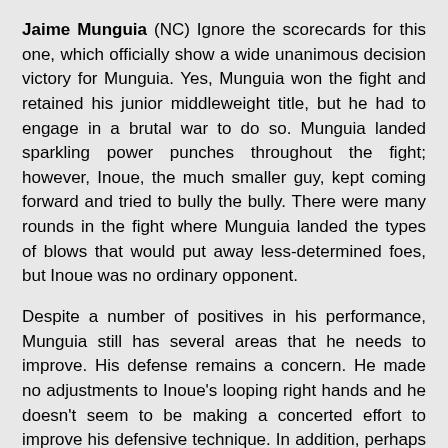Jaime Munguia (NC) Ignore the scorecards for this one, which officially show a wide unanimous decision victory for Munguia. Yes, Munguia won the fight and retained his junior middleweight title, but he had to engage in a brutal war to do so. Munguia landed sparkling power punches throughout the fight; however, Inoue, the much smaller guy, kept coming forward and tried to bully the bully. There were many rounds in the fight where Munguia landed the types of blows that would put away less-determined foes, but Inoue was no ordinary opponent.
Despite a number of positives in his performance, Munguia still has several areas that he needs to improve. His defense remains a concern. He made no adjustments to Inoue's looping right hands and he doesn't seem to be making a concerted effort to improve his defensive technique. In addition, perhaps if Munguia was in better conditioning, he wouldn't have spent so much time along the ropes, where he was often target practice.
To my eyes, Munguia looks like a middleweight trying to...